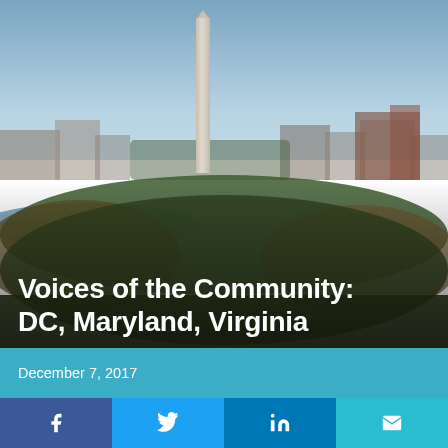[Figure (photo): Aerial view of Washington DC skyline with the Washington Monument prominently centered, surrounded by trees with autumn foliage, tidal basin water visible, and blue sky in the background.]
Voices of the Community: DC, Maryland, Virginia
December 7, 2017